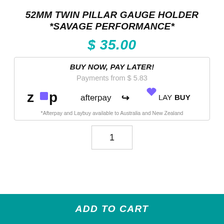52MM TWIN PILLAR GAUGE HOLDER *SAVAGE PERFORMANCE*
$ 35.00
BUY NOW, PAY LATER!
Payments from $ 5.83
[Figure (logo): Zip, Afterpay, and Laybuy payment logos]
*Afterpay and Laybuy available to Australia and New Zealand
1
ADD TO CART